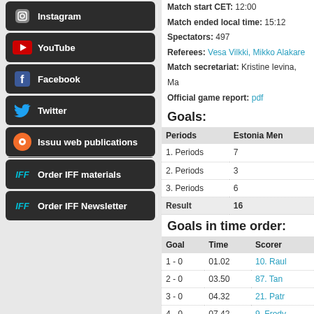Instagram
YouTube
Facebook
Twitter
Issuu web publications
Order IFF materials
Order IFF Newsletter
Match start CET: 12:00
Match ended local time: 15:12
Spectators: 497
Referees: Vesa Vilkki, Mikko Alakare
Match secretariat: Kristine Ievina, Ma...
Official game report: pdf
Goals:
| Periods | Estonia Men |
| --- | --- |
| 1. Periods | 7 |
| 2. Periods | 3 |
| 3. Periods | 6 |
| Result | 16 |
Goals in time order:
| Goal | Time | Scorer |
| --- | --- | --- |
| 1 - 0 | 01.02 | 10. Raul... |
| 2 - 0 | 03.50 | 87. Tan... |
| 3 - 0 | 04.32 | 21. Patr... |
| 4 - 0 | 07.42 | 9. Fredy... |